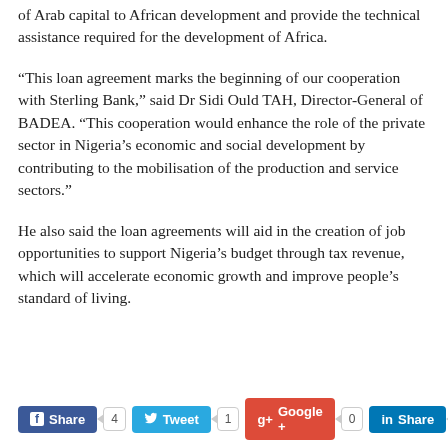of Arab capital to African development and provide the technical assistance required for the development of Africa.
“This loan agreement marks the beginning of our cooperation with Sterling Bank,” said Dr Sidi Ould TAH, Director-General of BADEA. “This cooperation would enhance the role of the private sector in Nigeria’s economic and social development by contributing to the mobilisation of the production and service sectors.”
He also said the loan agreements will aid in the creation of job opportunities to support Nigeria’s budget through tax revenue, which will accelerate economic growth and improve people’s standard of living.